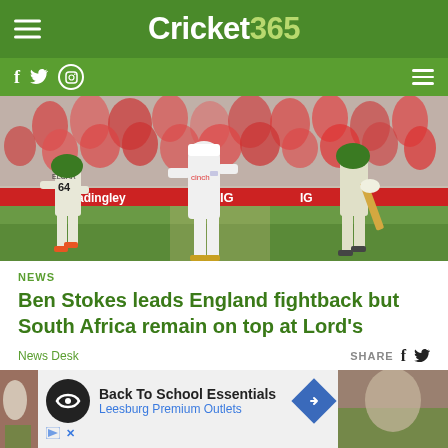Cricket365
[Figure (photo): Cricket match at Lord's showing South African batsmen (one wearing number 64, labeled Elgar) running between wickets with an England bowler in white cinch-branded kit walking nearby, crowd in background, IG advertising boards visible]
NEWS
Ben Stokes leads England fightback but South Africa remain on top at Lord's
News Desk
SHARE
[Figure (infographic): Advertisement banner: Back To School Essentials - Leesburg Premium Outlets, with circular logo and blue diamond arrow icon, alongside cricket match photos on left and right edges]